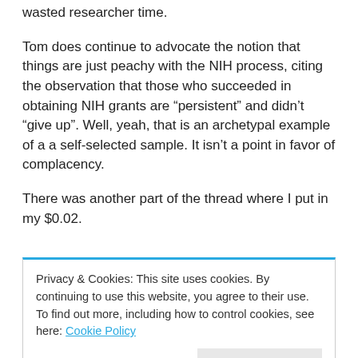wasted researcher time.
Tom does continue to advocate the notion that things are just peachy with the NIH process, citing the observation that those who succeeded in obtaining NIH grants are “persistent” and didn’t “give up”. Well, yeah, that is an archetypal example of a a self-selected sample. It isn’t a point in favor of complacency.
There was another part of the thread where I put in my $0.02.
Privacy & Cookies: This site uses cookies. By continuing to use this website, you agree to their use.
To find out more, including how to control cookies, see here: Cookie Policy
Close and accept
jobs.